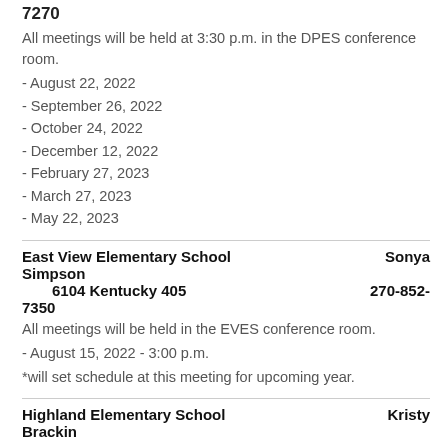7270
All meetings will be held at 3:30 p.m. in the DPES conference room.
- August 22, 2022
- September 26, 2022
- October 24, 2022
- December 12, 2022
- February 27, 2023
- March 27, 2023
- May 22, 2023
East View Elementary School    Sonya Simpson
6104 Kentucky 405    270-852-7350
All meetings will be held in the EVES conference room.
- August 15, 2022 - 3:00 p.m.
*will set schedule at this meeting for upcoming year.
Highland Elementary School    Kristy Brackin